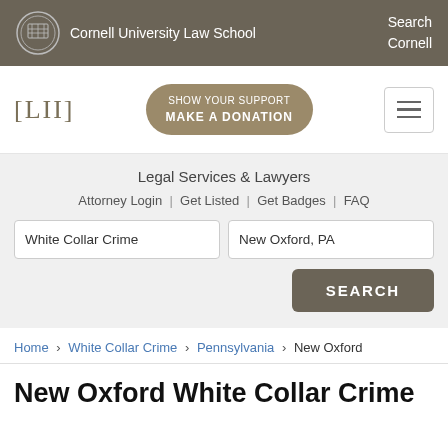Cornell University Law School | Search Cornell
[Figure (logo): LII logo with bracket notation [LII] and a donation button reading SHOW YOUR SUPPORT MAKE A DONATION]
Legal Services & Lawyers
Attorney Login | Get Listed | Get Badges | FAQ
Search inputs: White Collar Crime | New Oxford, PA | SEARCH button
Home > White Collar Crime > Pennsylvania > New Oxford
New Oxford White Collar Crime